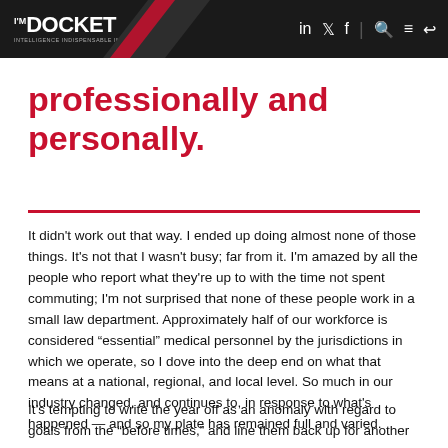THE DOCKET
professionally and personally.
It didn't work out that way. I ended up doing almost none of those things. It's not that I wasn't busy; far from it. I'm amazed by all the people who report what they're up to with the time not spent commuting; I'm not surprised that none of these people work in a small law department. Approximately half of our workforce is considered “essential” medical personnel by the jurisdictions in which we operate, so I dove into the deep end on what that means at a national, regional, and local level. So much in our industry changed, and continues to, in response to what's happened — and so my plate has remained full and varied.
It’s tempting to write the year off as an anomaly with regard to goals from the “before times,” and line them back up for another